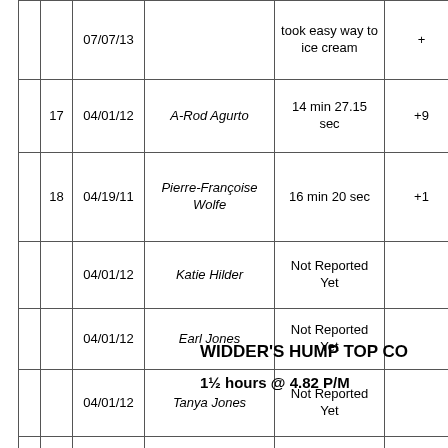|  | # | Date | Name | Time | +/- |
| --- | --- | --- | --- | --- | --- |
|  |  | 07/07/13 |  | took easy way to ice cream | + |
|  | 17 | 04/01/12 | A-Rod Agurto | 14 min 27.15 sec | +9 |
|  | 18 | 04/19/11 | Pierre-Françoise Wolfe | 16 min 20 sec | +1 |
|  |  | 04/01/12 | Katie Hilder | Not Reported Yet |  |
|  |  | 04/01/12 | Earl Jones | Not Reported Yet |  |
|  |  | 04/01/12 | Tanya Jones | Not Reported Yet |  |
|  |  | 07/05/12 | Big Bianchi | Never done it nor likely to ever try |  |
| Self timing accepted (in fact encouraged), but World Record |
WIDDER'S HUMP TOP CO...
1½ hours @ 4.82 P/M...